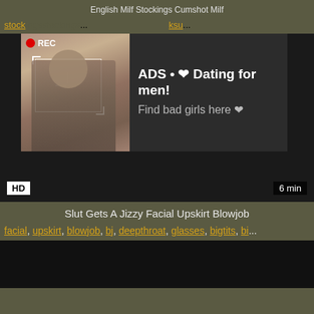English Milf Stockings Cumshot Milf
stock... ksu...
[Figure (screenshot): Video player with ad overlay showing a REC badge, camera focus box, a photo of a woman taking a selfie, and ad text: ADS • ❤ Dating for men! Find bad girls here ❤]
HD   6 min
Slut Gets A Jizzy Facial Upskirt Blowjob
facial, upskirt, blowjob, bj, deepthroat, glasses, bigtits, bi...
[Figure (screenshot): Dark video thumbnail at bottom of page]